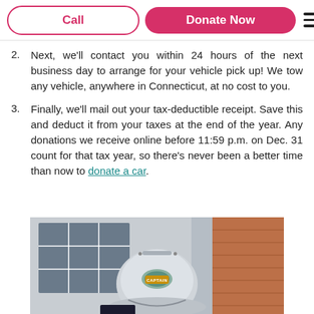Call | Donate Now
2. Next, we'll contact you within 24 hours of the next business day to arrange for your vehicle pick up! We tow any vehicle, anywhere in Connecticut, at no cost to you.
3. Finally, we'll mail out your tax-deductible receipt. Save this and deduct it from your taxes at the end of the year. Any donations we receive online before 11:59 p.m. on Dec. 31 count for that tax year, so there's never been a better time than now to donate a car.
[Figure (photo): A firefighter wearing a Captain helmet standing in front of a building with windows and brick wall]